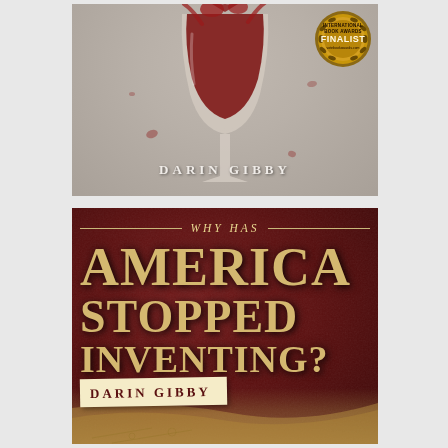[Figure (illustration): Top book cover showing a wine glass with red wine splashing, on a light gray/stone textured background. Author name 'DARIN GIBBY' in spaced white letters. International Book Awards Finalist gold seal badge in top right corner.]
[Figure (illustration): Bottom book cover with dark red/maroon textured background. Title 'WHY HAS AMERICA STOPPED INVENTING?' in large gold serif letters. Author name 'DARIN GIBBY' on a torn parchment-style strip at bottom left. Map/parchment design at bottom.]